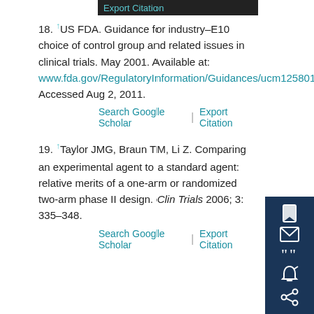18. ↑US FDA. Guidance for industry–E10 choice of control group and related issues in clinical trials. May 2001. Available at: www.fda.gov/RegulatoryInformation/Guidances/ucm125801. Accessed Aug 2, 2011.
19. ↑Taylor JMG, Braun TM, Li Z. Comparing an experimental agent to a standard agent: relative merits of a one-arm or randomized two-arm phase II design. Clin Trials 2006; 3: 335–348.